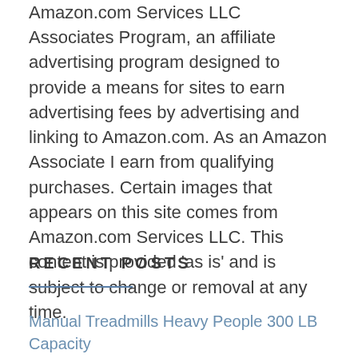Amazon.com Services LLC Associates Program, an affiliate advertising program designed to provide a means for sites to earn advertising fees by advertising and linking to Amazon.com. As an Amazon Associate I earn from qualifying purchases. Certain images that appears on this site comes from Amazon.com Services LLC. This content is provided 'as is' and is subject to change or removal at any time.
RECENT POSTS
Manual Treadmills Heavy People 300 LB Capacity